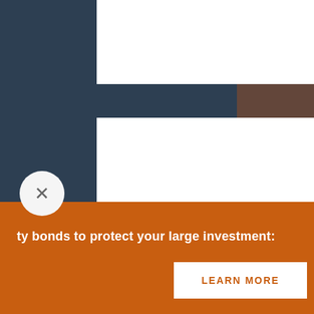[Figure (illustration): Icon of stacked cards/documents with a small square and horizontal lines, representing Designated Programs]
Designated Programs
ty bonds to protect your large investment:
LEARN MORE